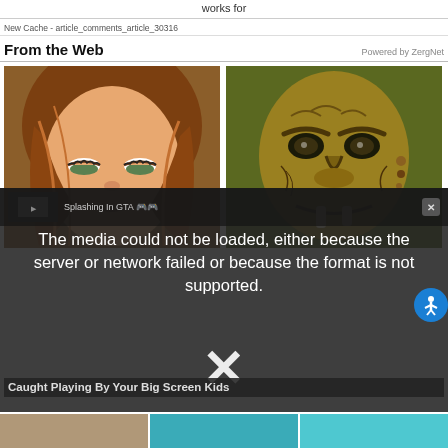works for
New Cache - article_comments_article_30316
From the Web
Powered by ZergNet
[Figure (photo): 3D animated girl character with brown hair, eyes half-closed]
[Figure (photo): Fantasy orc character face close-up, greenish-yellow skin with tusks]
[Figure (screenshot): Media error overlay: The media could not be loaded, either because the server or network failed or because the format is not supported. Shows X close symbol and Splashing In GTA video title.]
Caught Playing By Your Big Screen Kids
[Figure (photo): Bottom row thumbnails - animated character, teal/blue screenshots]